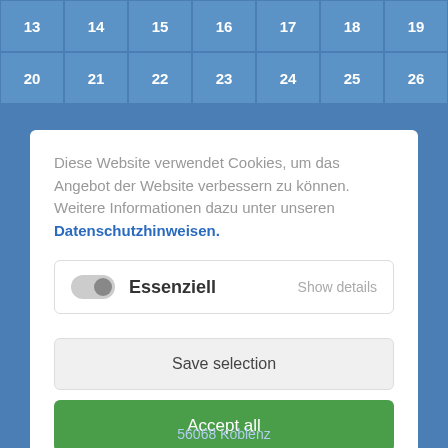[Figure (screenshot): Calendar grid showing two rows with numbers 13-19 and 20-26 on a blue background]
Diese Website verwendet Cookies, um das Angebot der Website verbessern zu können. Weitere Informationen dazu unter unseren Datenschutzhinweisen.
Essenziell    Show details
Save selection
Accept all
56068 Koblenz